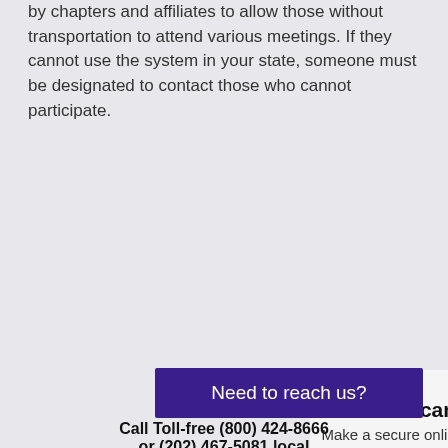by chapters and affiliates to allow those without transportation to attend various meetings. If they cannot use the system in your state, someone must be designated to contact those who cannot participate.
[Figure (infographic): Donation call-to-action card with 'You can help!' heading, subtitle 'Make a secure online donation today', a green 'Donate' button, and a cyan 'Join ACB' button on a light gray background.]
Need to reach us?
Call Toll-free (800) 424-8666 or (202) 467-5081 local